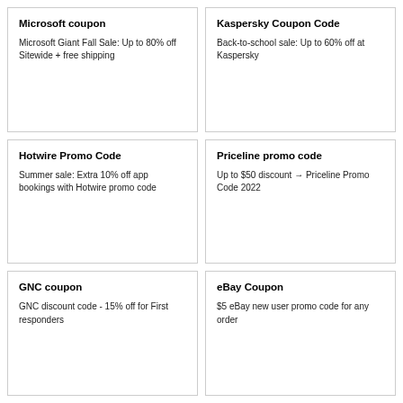Microsoft coupon
Microsoft Giant Fall Sale: Up to 80% off Sitewide + free shipping
Kaspersky Coupon Code
Back-to-school sale: Up to 60% off at Kaspersky
Hotwire Promo Code
Summer sale: Extra 10% off app bookings with Hotwire promo code
Priceline promo code
Up to $50 discount → Priceline Promo Code 2022
GNC coupon
GNC discount code - 15% off for First responders
eBay Coupon
$5 eBay new user promo code for any order